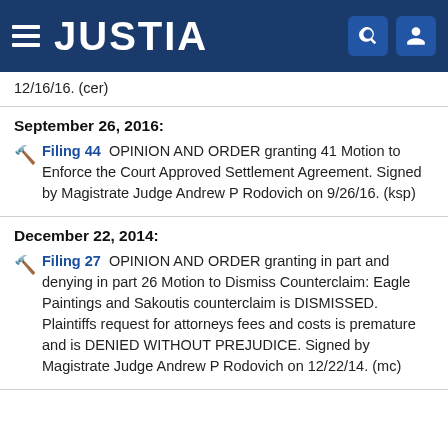JUSTIA
12/16/16. (cer)
September 26, 2016:
🔨 Filing 44  OPINION AND ORDER granting 41 Motion to Enforce the Court Approved Settlement Agreement. Signed by Magistrate Judge Andrew P Rodovich on 9/26/16. (ksp)
December 22, 2014:
🔨 Filing 27  OPINION AND ORDER granting in part and denying in part 26 Motion to Dismiss Counterclaim: Eagle Paintings and Sakoutis counterclaim is DISMISSED. Plaintiffs request for attorneys fees and costs is premature and is DENIED WITHOUT PREJUDICE. Signed by Magistrate Judge Andrew P Rodovich on 12/22/14. (mc)